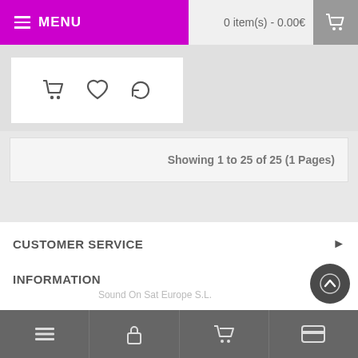MENU | 0 item(s) - 0.00€
[Figure (screenshot): Product card with shopping cart, heart/wishlist, and refresh icons]
Showing 1 to 25 of 25 (1 Pages)
CUSTOMER SERVICE
INFORMATION
EXTRAS
MY ACCOUNT
Sound On Sat Europe S.L.
Bottom navigation toolbar with list, lock, cart, and card icons